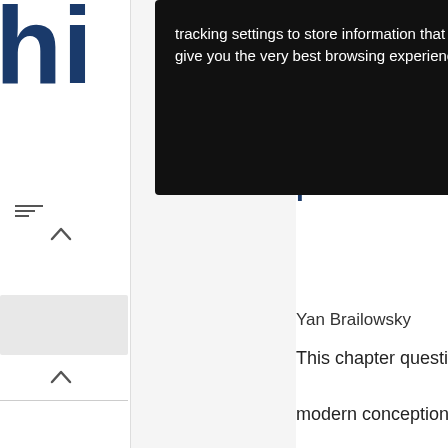[Figure (screenshot): Partial website logo showing letters 'hi' in large dark navy font]
[Figure (screenshot): Cookie/tracking settings popup overlay with black background and close button, text: 'tracking settings to store information that help give you the very best browsing experience.']
tracking settings to store information that help give you the very best browsing experience.
[Figure (screenshot): Hamburger menu icon (three horizontal lines) top right]
[Figure (screenshot): Filter icon (three descending horizontal lines) in left sidebar]
[Figure (screenshot): Gray box element in left sidebar]
challenges to performativity
Yan Brailowsky
This chapter question modern conceptions of supernatural from a linguistic perspect language produce supernatural effec the supernatural e through language? Fir considers the context
[Figure (screenshot): Action buttons panel on right side with save (floppy disk), email (envelope), and share icons in blue]